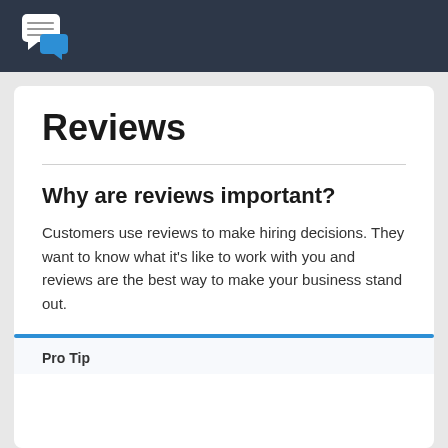[Figure (logo): Chat bubble logo with white speech bubble containing lines and a blue speech bubble, on dark navy background header bar]
Reviews
Why are reviews important?
Customers use reviews to make hiring decisions. They want to know what it's like to work with you and reviews are the best way to make your business stand out.
Pro Tip